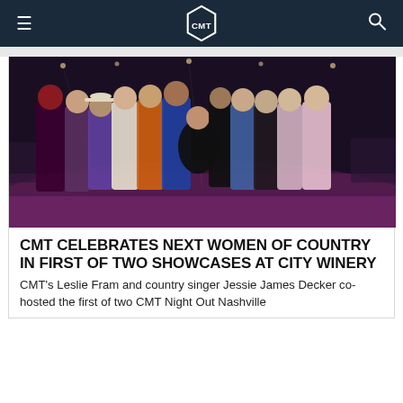CMT
[Figure (photo): Group photo of approximately 12 country music artists posing together on a stage with pink/purple lighting at City Winery Nashville. The group includes women and one man, dressed in various outfits from cowboy hats to sequins.]
CMT CELEBRATES NEXT WOMEN OF COUNTRY IN FIRST OF TWO SHOWCASES AT CITY WINERY
CMT's Leslie Fram and country singer Jessie James Decker co-hosted the first of two CMT Night Out Nashville